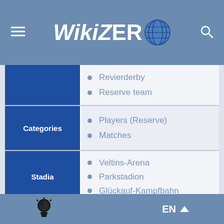WikiZero
Revierderby
Reserve team
Categories
Players (Reserve)
Matches
Stadia
Veltins-Arena
Parkstadion
Glückauf-Kampfbahn
1991–92
1996–97
1997–98
EN